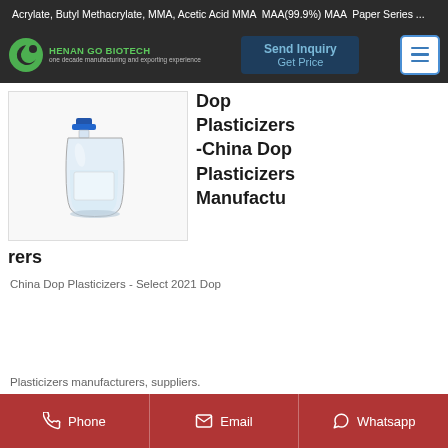Acrylate, Butyl Methacrylate, MMA, Acetic Acid MMA, MAA(99.9%) MAA, Paper Series ...
[Figure (logo): Henan Go Biotech logo - green circle with white C shape and company name]
Send Inquiry
Get Price
Dop Plasticizers -China Dop Plasticizers Manufacturers
[Figure (photo): Clear glass bottle with blue cap containing clear liquid - DOP plasticizer product photo]
China Dop Plasticizers - Select 2021 Dop Plasticizers manufacturers, suppliers.
Phone  Email  Whatsapp